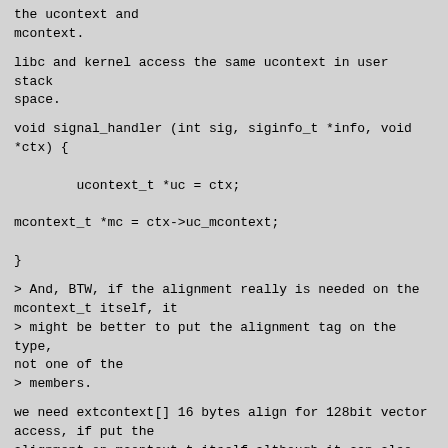the ucontext and
mcontext.
libc and kernel access the same ucontext in user stack
space.
void signal_handler (int sig, siginfo_t *info, void
*ctx) {

        ucontext_t *uc = ctx;

mcontext_t *mc = ctx->uc_mcontext;

}
> And, BTW, if the alignment really is needed on the
mcontext_t itself, it
> might be better to put the alignment tag on the type,
not one of the
> members.
we need extcontext[] 16 bytes align for 128bit vector
access, if put the
alignment on mcontext_t itself,although it can also
meet the 16 bytes align
requirements of extcontext[] (the offset is an integer
multiple of 16 bytes
from the start of struct sigcontext),the meaning is not
clear.